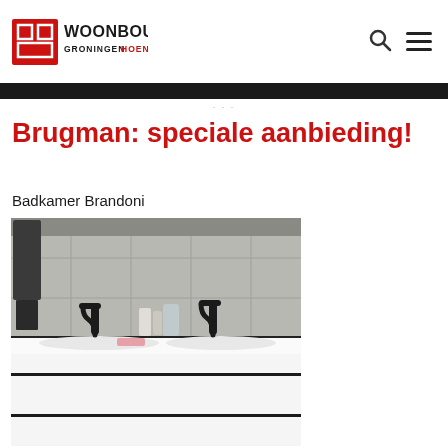Woonboulevard Groningen Hoendiep Peizerweg
Brugman: speciale aanbieding!
Badkamer Brandoni
[Figure (photo): Bathroom vanity unit (Badkamer Brandoni) with white cabinet drawers, double sink basin with two black matte faucets, and a dark towel hanging on the left, set against grey tile walls.]